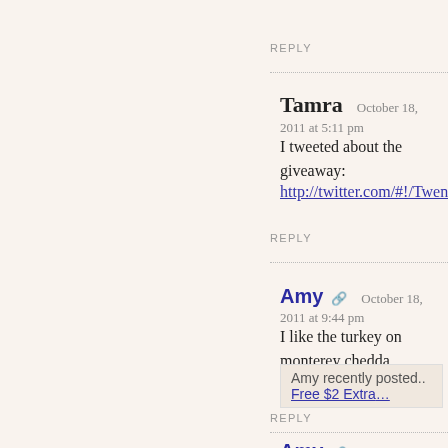REPLY
Tamra   October 18, 2011 at 5:11 pm
I tweeted about the giveaway:
http://twitter.com/#!/Twenteries/statu…
REPLY
Amy   October 18, 2011 at 9:44 pm
I like the turkey on monterey chedda…
Amy recently posted.. Free $2 Extra…
REPLY
Amy   October 18, 2011 at 9:45 pm